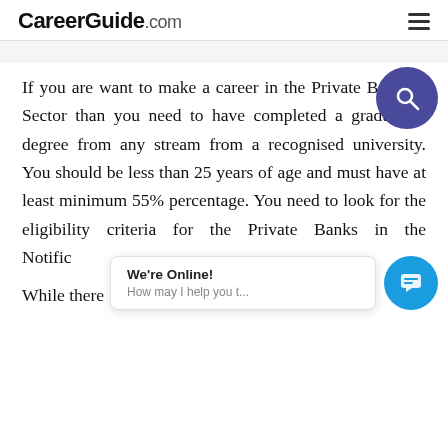CareerGuide.com
If you are want to make a career in the Private Banking Sector than you need to have completed a graduation degree from any stream from a recognised university. You should be less than 25 years of age and must have at least minimum 55% percentage. You need to look for the eligibility criteria for the Private Banks in the Notification and While there ite